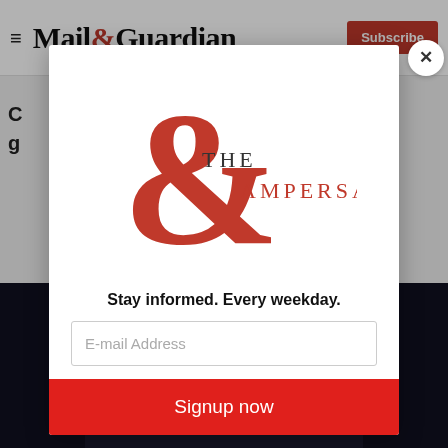Mail&Guardian | Subscribe
C...
g...
[Figure (screenshot): Dark background image at bottom of page behind modal]
[Figure (logo): The Ampersand newsletter logo — large red ampersand with 'THE AMPERSAND' text]
Stay informed. Every weekday.
E-mail Address
Signup now